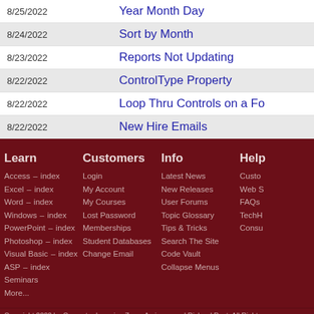| Date | Title |
| --- | --- |
| 8/25/2022 | Year Month Day |
| 8/24/2022 | Sort by Month |
| 8/23/2022 | Reports Not Updating |
| 8/22/2022 | ControlType Property |
| 8/22/2022 | Loop Thru Controls on a Fo… |
| 8/22/2022 | New Hire Emails |
Learn
Customers
Info
Help
Access – index
Excel – index
Word – index
Windows – index
PowerPoint – index
Photoshop – index
Visual Basic – index
ASP – index
Seminars
More...
Login
My Account
My Courses
Lost Password
Memberships
Student Databases
Change Email
Latest News
New Releases
User Forums
Topic Glossary
Tips & Tricks
Search The Site
Code Vault
Collapse Menus
Custo…
Web S…
FAQs
TechH…
Consu…
Copyright 2022 by Computer Learning Zone, Amicron, and Richard Rost. All Rights Reserved.    Curre…